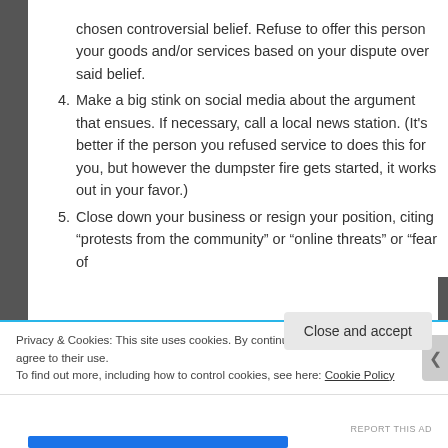chosen controversial belief. Refuse to offer this person your goods and/or services based on your dispute over said belief.
4. Make a big stink on social media about the argument that ensues. If necessary, call a local news station. (It’s better if the person you refused service to does this for you, but however the dumpster fire gets started, it works out in your favor.)
5. Close down your business or resign your position, citing “protests from the community” or “online threats” or “fear of
Privacy & Cookies: This site uses cookies. By continuing to use this website, you agree to their use.
To find out more, including how to control cookies, see here: Cookie Policy